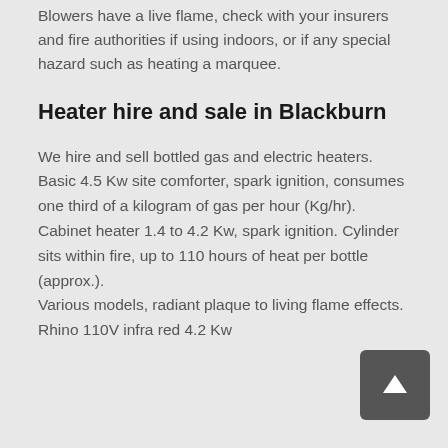Blowers have a live flame, check with your insurers and fire authorities if using indoors, or if any special hazard such as heating a marquee.
Heater hire and sale in Blackburn
We hire and sell bottled gas and electric heaters. Basic 4.5 Kw site comforter, spark ignition, consumes one third of a kilogram of gas per hour (Kg/hr). Cabinet heater 1.4 to 4.2 Kw, spark ignition. Cylinder sits within fire, up to 110 hours of heat per bottle (approx.). Various models, radiant plaque to living flame effects. Rhino 110V infra red 4.2 Kw
[Figure (other): Scroll-to-top button: dark grey rounded square with a white upward arrow icon]